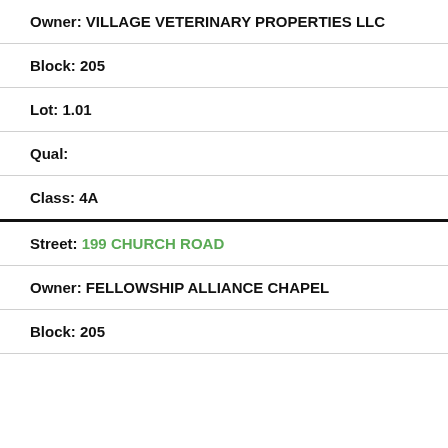Owner: VILLAGE VETERINARY PROPERTIES LLC
Block: 205
Lot: 1.01
Qual:
Class: 4A
Street: 199 CHURCH ROAD
Owner: FELLOWSHIP ALLIANCE CHAPEL
Block: 205